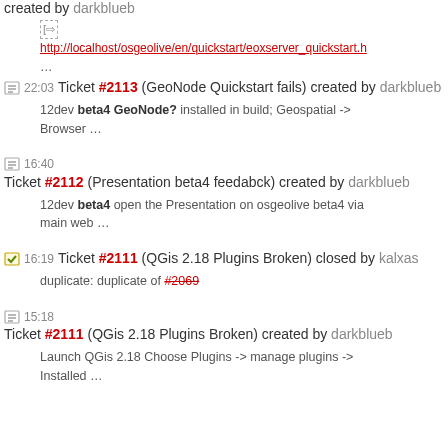created by darkblueb
http://localhost/osgeolive/en/quickstart/eoxserver_quickstart.h ...
22:03 Ticket #2113 (GeoNode Quickstart fails) created by darkblueb — 12dev beta4 GeoNode? installed in build; Geospatial -> Browser ...
16:40 Ticket #2112 (Presentation beta4 feedabck) created by darkblueb — 12dev beta4 open the Presentation on osgeolive beta4 via main web ...
16:19 Ticket #2111 (QGis 2.18 Plugins Broken) closed by kalxas — duplicate: duplicate of #2069
15:18 Ticket #2111 (QGis 2.18 Plugins Broken) created by darkblueb — Launch QGis 2.18 Choose Plugins -> manage plugins -> Installed ...